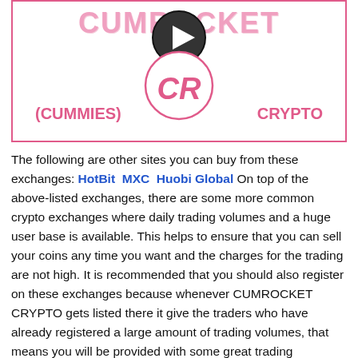[Figure (illustration): CumRocket Crypto (CUMMIES) promotional banner with pink title text 'CUMROCKET', a video play button circle, the CR logo in a circle, and labels '(CUMMIES)' and 'CRYPTO' on either side, all within a pink-bordered rectangle.]
The following are other sites you can buy from these exchanges: HotBit  MXC  Huobi Global On top of the above-listed exchanges, there are some more common crypto exchanges where daily trading volumes and a huge user base is available. This helps to ensure that you can sell your coins any time you want and the charges for the trading are not high. It is recommended that you should also register on these exchanges because whenever CUMROCKET CRYPTO gets listed there it give the traders who have already registered a large amount of trading volumes, that means you will be provided with some great trading opportunities!